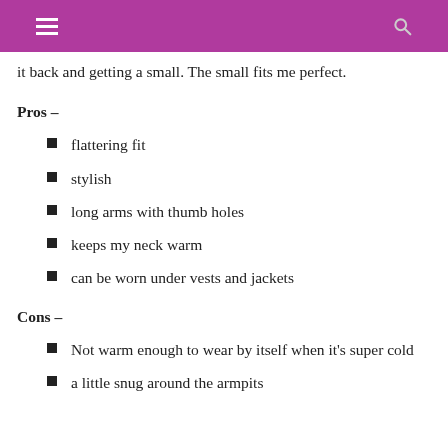it back and getting a small. The small fits me perfect.
Pros –
flattering fit
stylish
long arms with thumb holes
keeps my neck warm
can be worn under vests and jackets
Cons –
Not warm enough to wear by itself when it's super cold
a little snug around the armpits